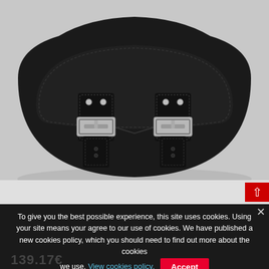[Figure (photo): Black leather motorcycle saddlebag with two silver buckle straps on a grey/white background]
To give you the best possible experience, this site uses cookies. Using your site means your agree to our use of cookies. We have published a new cookies policy, which you should need to find out more about the cookies we use. View cookies policy.   Accept
139.17€